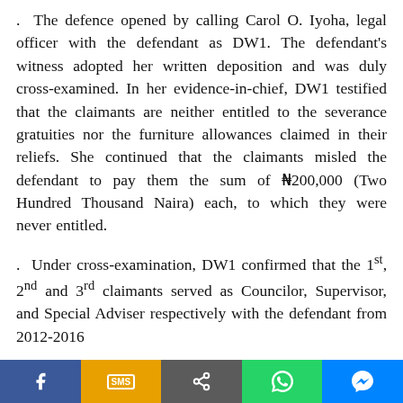. The defence opened by calling Carol O. Iyoha, legal officer with the defendant as DW1. The defendant's witness adopted her written deposition and was duly cross-examined. In her evidence-in-chief, DW1 testified that the claimants are neither entitled to the severance gratuities nor the furniture allowances claimed in their reliefs. She continued that the claimants misled the defendant to pay them the sum of ₦200,000 (Two Hundred Thousand Naira) each, to which they were never entitled.
. Under cross-examination, DW1 confirmed that the 1st, 2nd and 3rd claimants served as Councilor, Supervisor, and Special Adviser respectively with the defendant from 2012-2016